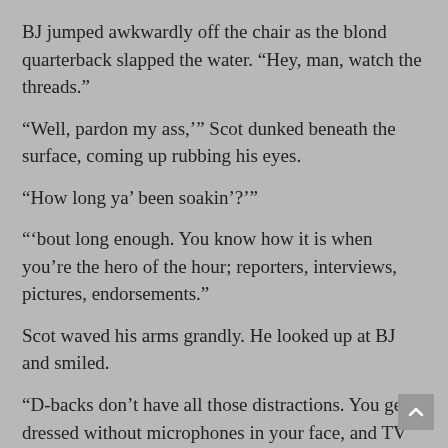BJ jumped awkwardly off the chair as the blond quarterback slapped the water. “Hey, man, watch the threads.”
“Well, pardon my ass,’” Scot dunked beneath the surface, coming up rubbing his eyes.
“How long ya’ been soakin’?’”
“‘bout long enough. You know how it is when you’re the hero of the hour; reporters, interviews, pictures, endorsements.”
Scot waved his arms grandly. He looked up at BJ and smiled.
“D-backs don’t have all those distractions. You get dressed without microphones in your face, and TV cameras watching you pick your nose, and owner’s asking you over for cocktails.”